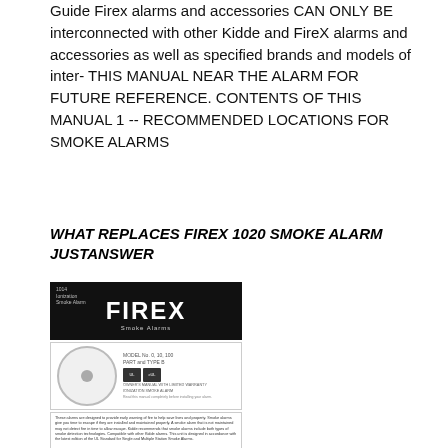Guide Firex alarms and accessories CAN ONLY BE interconnected with other Kidde and FireX alarms and accessories as well as specified brands and models of inter- THIS MANUAL NEAR THE ALARM FOR FUTURE REFERENCE. CONTENTS OF THIS MANUAL 1 -- RECOMMENDED LOCATIONS FOR SMOKE ALARMS
WHAT REPLACES FIREX 1020 SMOKE ALARM JUSTANSWER
[Figure (photo): Image of a Firex smoke alarm product — includes a black header label with FIREX brand name and 'Smoke Alarms' text, a white circular smoke detector device, a text block with product description, and a list section titled 'FIREX ALARM TEAR SERIES' with numbered items.]